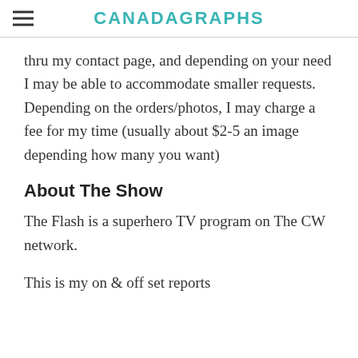CANADAGRAPHS
thru my contact page, and depending on your need I may be able to accommodate smaller requests. Depending on the orders/photos, I may charge a fee for my time (usually about $2-5 an image depending how many you want)
About The Show
The Flash is a superhero TV program on The CW network.
This is my on & off set reports